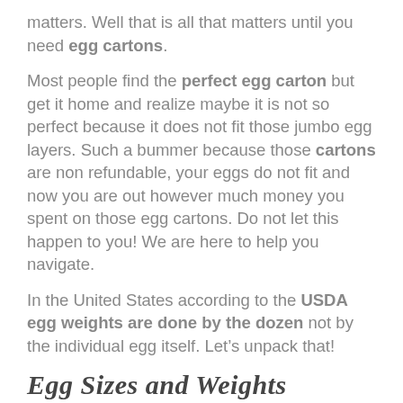matters. Well that is all that matters until you need egg cartons.
Most people find the perfect egg carton but get it home and realize maybe it is not so perfect because it does not fit those jumbo egg layers. Such a bummer because those cartons are non refundable, your eggs do not fit and now you are out however much money you spent on those egg cartons. Do not let this happen to you! We are here to help you navigate.
In the United States according to the USDA egg weights are done by the dozen not by the individual egg itself. Let’s unpack that!
Egg Sizes and Weights